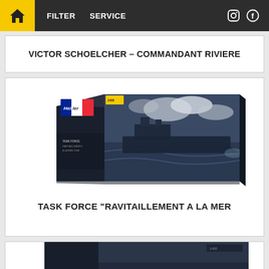FILTER  SERVICE
VICTOR SCHOELCHER – COMMANDANT RIVIERE
[Figure (photo): Product box of Heller model kit: Task Force Ravitaillement à la Mer, showing a naval warship scene on a dark box with the Heller logo and French tricolor flag]
TASK FORCE "RAVITAILLEMENT A LA MER
[Figure (photo): Partial view of another Heller model kit box, dark with a ship image visible at the bottom of the page]